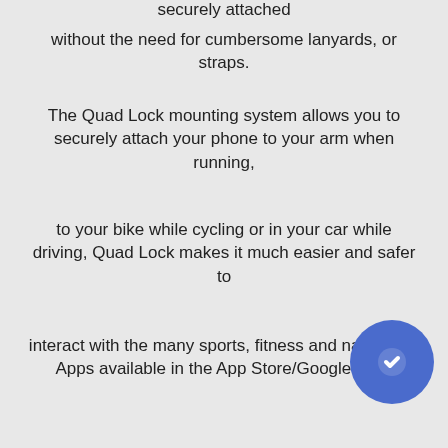securely attached
without the need for cumbersome lanyards, or straps.
The Quad Lock mounting system allows you to securely attach your phone to your arm when running,
to your bike while cycling or in your car while driving, Quad Lock makes it much easier and safer to
interact with the many sports, fitness and navigation Apps available in the App Store/Google Play.
Quad Lock is the Lightest, Strongest and most Secure Smartphone mount on the market.
Once you try it you will wonder how you got by without it!
The Poncho is a super tough water resistant